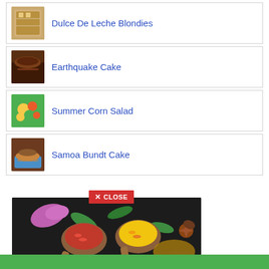Dulce De Leche Blondies
Earthquake Cake
Summer Corn Salad
Samoa Bundt Cake
[Figure (photo): Welcome to My Site spice/herb themed welcome banner with wooden spoons, colorful spices, and herbs on dark background with white script text reading 'Welcome to My Site']